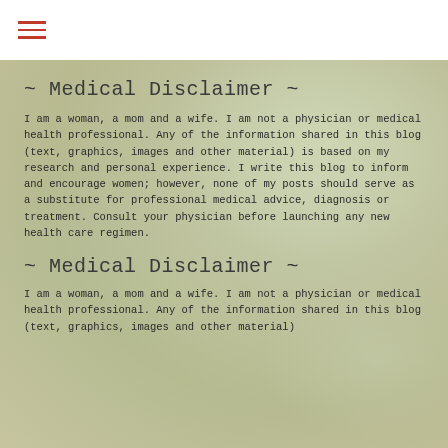≡
~ Medical Disclaimer ~
I am a woman, a mom and a wife. I am not a physician or medical health professional. Any of the information shared in this blog (text, graphics, images and other material) is based on my research and personal experience. I write this blog to inform and encourage women; however, none of my posts should serve as a substitute for professional medical advice, diagnosis or treatment. Consult your physician before launching any new health care regimen.
~ Medical Disclaimer ~
I am a woman, a mom and a wife. I am not a physician or medical health professional. Any of the information shared in this blog (text, graphics, images and other material)